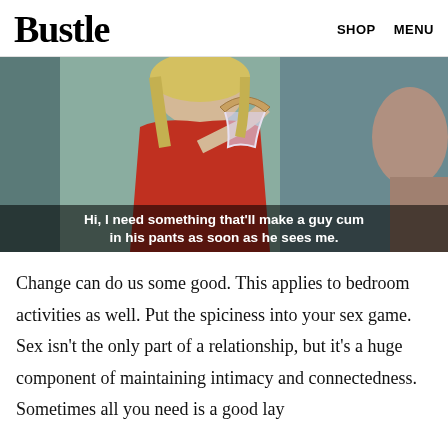Bustle   SHOP   MENU
[Figure (screenshot): Movie still showing a woman in red holding a clothes hanger with lingerie, with subtitle text: 'Hi, I need something that'll make a guy cum in his pants as soon as he sees me.']
Change can do us some good. This applies to bedroom activities as well. Put the spiciness into your sex game. Sex isn't the only part of a relationship, but it's a huge component of maintaining intimacy and connectedness. Sometimes all you need is a good lay